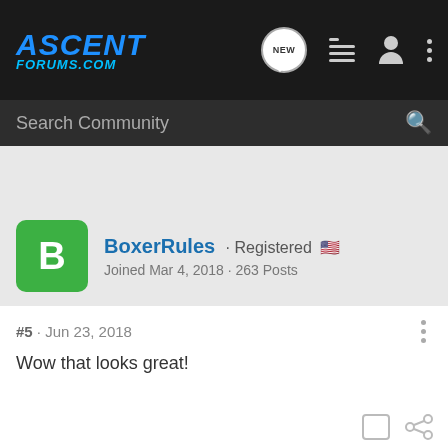ASCENT FORUMS.COM
Search Community
BoxerRules · Registered
Joined Mar 4, 2018 · 263 Posts
#5 · Jun 23, 2018
Wow that looks great!